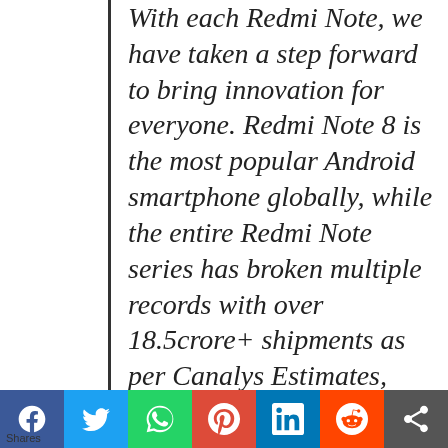With each Redmi Note, we have taken a step forward to bring innovation for everyone. Redmi Note 8 is the most popular Android smartphone globally, while the entire Redmi Note series has broken multiple records with over 18.5crore+ shipments as per Canalys Estimates, Smartphone Analysis, May 2020. In India, Redmi Note series is a testament to the success of the Make in India program.

Redmi Note 9 brings a fresh perspective to the segment by bringing the performance and gaming focussed MediaTek Helio G85. The 16.5cm (6.53)
Shares